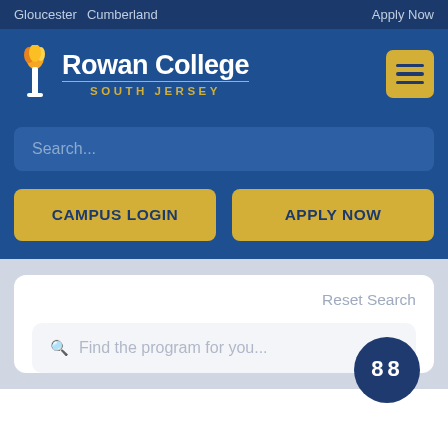Gloucester  Cumberland    Apply Now
[Figure (logo): Rowan College South Jersey logo with flame/torch icon and gold text]
[Figure (screenshot): Hamburger menu button (three horizontal bars) in gold/yellow square]
Search...
CAMPUS LOGIN
APPLY NOW
Reset Search
Find the program for you...
[Figure (other): Dark blue circular badge with '88' in digital/LCD display font]